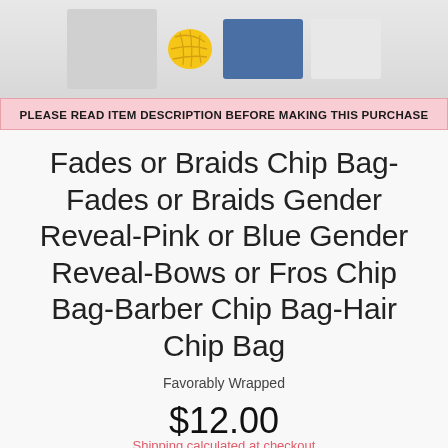[Figure (photo): Product listing image showing yarn balls and fabric panels with a pink notice bar reading 'PLEASE READ ITEM DESCRIPTION BEFORE MAKING THIS PURCHASE']
Fades or Braids Chip Bag-Fades or Braids Gender Reveal-Pink or Blue Gender Reveal-Bows or Fros Chip Bag-Barber Chip Bag-Hair Chip Bag
Favorably Wrapped
$12.00
Shipping calculated at checkout